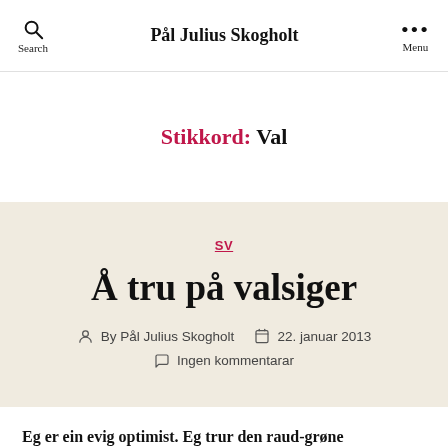Pål Julius Skogholt
Stikkord: Val
SV
Å tru på valsiger
By Pål Julius Skogholt   22. januar 2013   Ingen kommentarar
Eg er ein evig optimist. Eg trur den raud-grøne